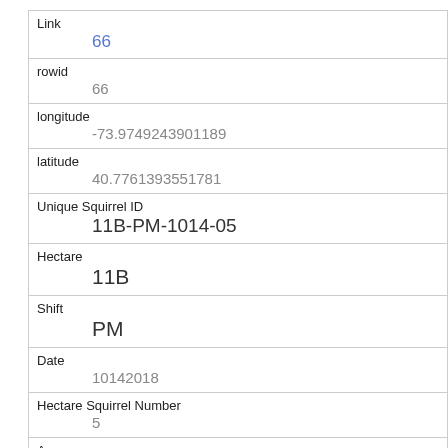| Field | Value |
| --- | --- |
| Link | 66 |
| rowid | 66 |
| longitude | -73.9749243901189 |
| latitude | 40.7761393551781 |
| Unique Squirrel ID | 11B-PM-1014-05 |
| Hectare | 11B |
| Shift | PM |
| Date | 10142018 |
| Hectare Squirrel Number | 5 |
| Age | Adult |